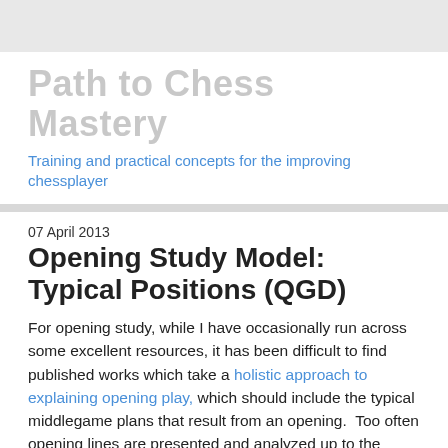Path to Chess Mastery
Training and practical concepts for the improving chessplayer
07 April 2013
Opening Study Model: Typical Positions (QGD)
For opening study, while I have occasionally run across some excellent resources, it has been difficult to find published works which take a holistic approach to explaining opening play, which should include the typical middlegame plans that result from an opening.  Too often opening lines are presented and analyzed up to the middlegame, then abruptly abandoned for the next line.  This means that someone who is an openings specialist, especially at the Class level, can easily fall into the trap of knowing what to do